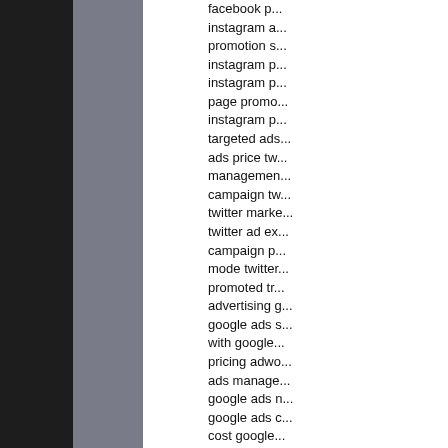[Figure (other): Dark black column on the left side of the page]
[Figure (other): Gray column in the middle-left area of the page]
facebook p...
instagram a...
promotion s...
instagram p...
instagram p...
page promo...
instagram p...
targeted ads...
ads price tw...
managemen...
campaign tw...
twitter marke...
twitter ad ex...
campaign p...
mode twitter...
promoted tr...
advertising g...
google ads s...
with google...
pricing adwo...
ads manage...
google ads n...
google ads c...
cost google...
google adwo...
consultants...
business sm...
advertising e...
business bu...
businesses...